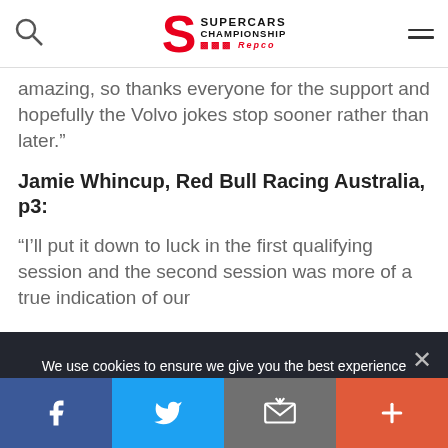Supercars Championship Repco
amazing, so thanks everyone for the support and hopefully the Volvo jokes stop sooner rather than later.”
Jamie Whincup, Red Bull Racing Australia, p3:
“I’ll put it down to luck in the first qualifying session and the second session was more of a true indication of our
We use cookies to ensure we give you the best experience on our website. If you continue to use this site, you agree to the terms and conditions identified in our privacy policy
OK
Privacy policy